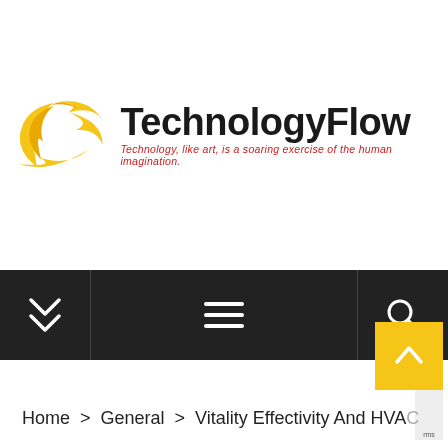[Figure (logo): TechnologyFlow logo: yellow swoosh/flame icon on left, bold black 'TechnologyFlow' text on right, red italic tagline below: 'Technology, like art, is a soaring exercise of the human imagination.']
[Figure (screenshot): Dark navigation bar with a double-chevron down icon on the left, hamburger menu icon in the center, and a search icon on the right.]
Home > General > Vitality Effectivity And HVAC